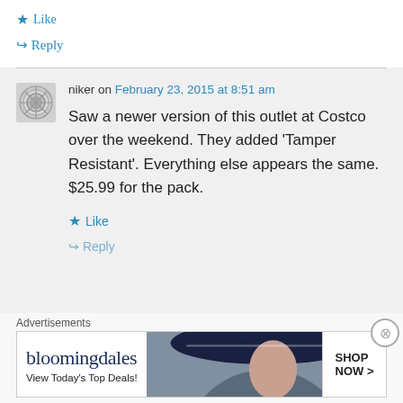★ Like
↪ Reply
niker on February 23, 2015 at 8:51 am
Saw a newer version of this outlet at Costco over the weekend. They added 'Tamper Resistant'. Everything else appears the same. $25.99 for the pack.
★ Like
↪ Reply
Advertisements
[Figure (screenshot): Bloomingdale's advertisement banner: logo, tagline 'View Today's Top Deals!', woman with hat, and 'SHOP NOW >' button]